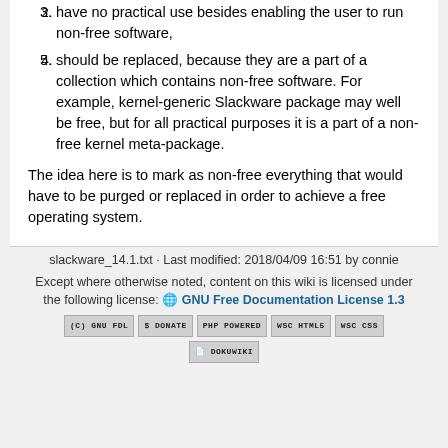2. have no practical use besides enabling the user to run non-free software,
3. should be replaced, because they are a part of a collection which contains non-free software. For example, kernel-generic Slackware package may well be free, but for all practical purposes it is a part of a non-free kernel meta-package.
The idea here is to mark as non-free everything that would have to be purged or replaced in order to achieve a free operating system.
slackware_14.1.txt · Last modified: 2018/04/09 16:51 by connie
Except where otherwise noted, content on this wiki is licensed under the following license: 🌐 GNU Free Documentation License 1.3
[Figure (other): Row of badges: GNU FDL, Donate, PHP Powered, WSC HTML5, WSC CSS, and DokuWiki badges]